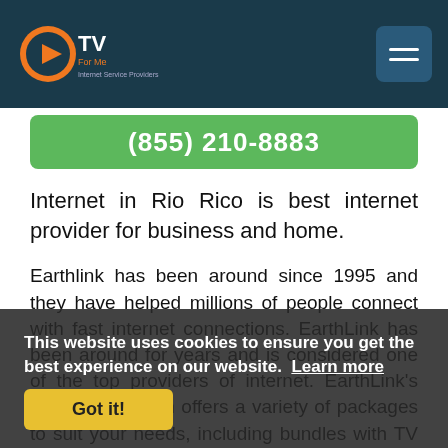CTV For Me - Internet Service Providers
(855) 210-8883
Internet in Rio Rico is best internet provider for business and home.
Earthlink has been around since 1995 and they have helped millions of people connect with fast internet connections. EarthLink has been around for years and is considered one of the top providers of internet. EarthLink's Rio Rico location offers a variety of packages to suit your needs, including bundles with TV and phone service. Whether you're looking for quick installation or just want to find out if EarthLink is available in your area, give us a call (866) 227-5099 today!
This website uses cookies to ensure you get the best experience on our website. Learn more Got it!